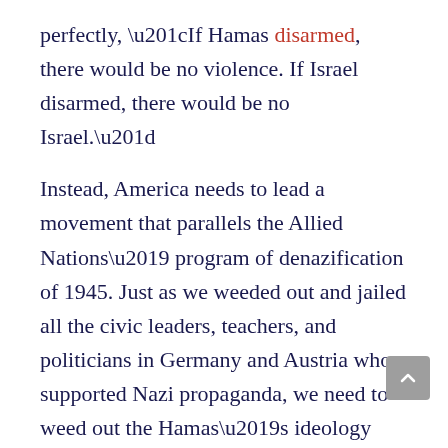perfectly, “If Hamas disarmed, there would be no violence. If Israel disarmed, there would be no Israel.”
Instead, America needs to lead a movement that parallels the Allied Nations’ program of denazification of 1945. Just as we weeded out and jailed all the civic leaders, teachers, and politicians in Germany and Austria who supported Nazi propaganda, we need to weed out the Hamas’s ideology from Palestine. We cannot allow the next generation of Palestinians to take up the Hamas’ mission of violent genocide against Jews.